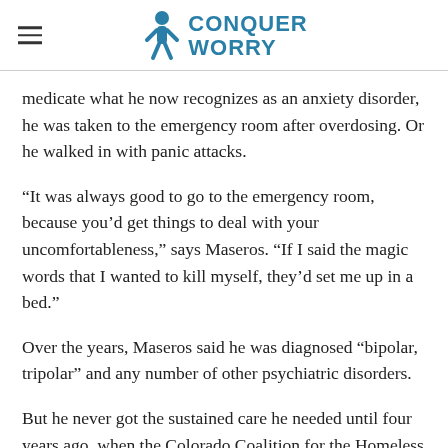Conquer Worry (logo)
medicate what he now recognizes as an anxiety disorder, he was taken to the emergency room after overdosing. Or he walked in with panic attacks.
“It was always good to go to the emergency room, because you’d get things to deal with your uncomfortableness,” says Maseros. “If I said the magic words that I wanted to kill myself, they’d set me up in a bed.”
Over the years, Maseros said he was diagnosed “bipolar, tripolar” and any number of other psychiatric disorders.
But he never got the sustained care he needed until four years ago, when the Colorado Coalition for the Homeless found housing for him, and he joined group